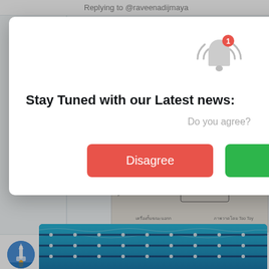Replying to @raveenadijmaya
SpaceX Elon
n rescure
cue
[Figure (screenshot): Sketch/drawing partially visible behind modal showing Thai rescue diagram]
[Figure (screenshot): Modal dialog popup with bell icon, title 'Stay Tuned with our Latest news:', subtitle 'Do you agree?', and two buttons: Disagree (red) and Agree (green)]
Stay Tuned with our Latest news:
Do you agree?
Disagree
Agree
Elon Musk
@elonmusk · Follow
[Figure (photo): Swimming pool photo with blue water and lane dividers at the bottom]